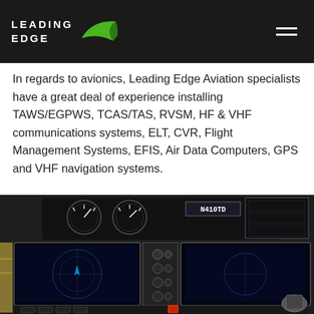LEADING EDGE
In regards to avionics, Leading Edge Aviation specialists have a great deal of experience installing TAWS/EGPWS, TCAS/TAS, RVSM, HF & VHF communications systems, ELT, CVR, Flight Management Systems, EFIS, Air Data Computers, GPS and VHF navigation systems.
[Figure (photo): Cockpit interior of a helicopter showing avionics panels, instrument gauges, dual display screens, and flight controls. Aircraft registration N410TD is visible.]